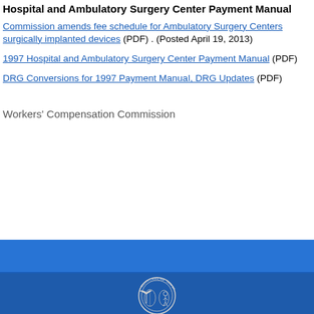Hospital and Ambulatory Surgery Center Payment Manual
Commission amends fee schedule for Ambulatory Surgery Centers surgically implanted devices (PDF) . (Posted April 19, 2013)
1997 Hospital and Ambulatory Surgery Center Payment Manual (PDF)
DRG Conversions for 1997 Payment Manual, DRG Updates (PDF)
Workers' Compensation Commission
[Figure (logo): South Carolina state seal on blue footer background]